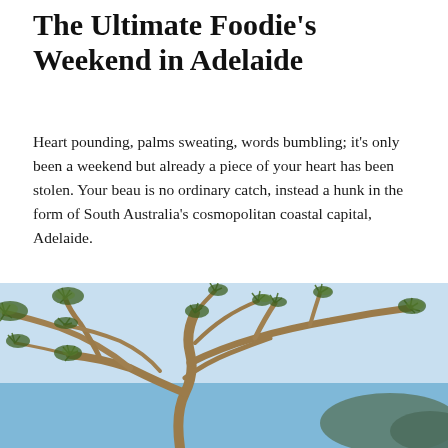The Ultimate Foodie's Weekend in Adelaide
Heart pounding, palms sweating, words bumbling; it's only been a weekend but already a piece of your heart has been stolen. Your beau is no ordinary catch, instead a hunk in the form of South Australia's cosmopolitan coastal capital, Adelaide.
READ MORE
[Figure (photo): A coastal scene showing a pandanus or pine-like tree with gnarled branches and needle-like foliage in the foreground, with a blue ocean and headland visible in the background under a light blue sky.]